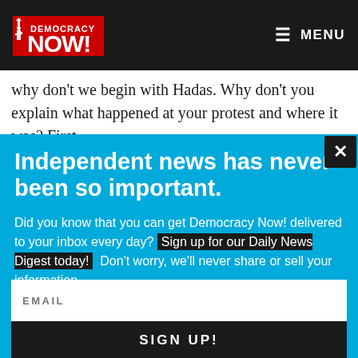Democracy Now! | MENU
why don't we begin with Hadas. Why don't you explain what happened at your protest and where it was? First,
Independent news has never been so important.
Did you know that you can get Democracy Now! delivered to your inbox every day? Sign up for our Daily News Digest today! Don't worry, we'll never share or sell your information.
EMAIL
SIGN UP!